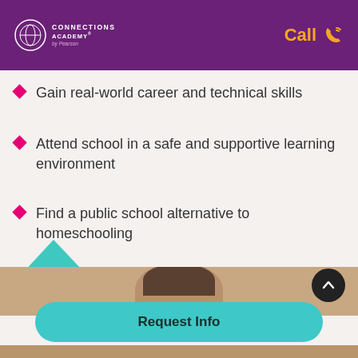Connections Academy by Pearson | Call
Gain real-world career and technical skills
Attend school in a safe and supportive learning environment
Find a public school alternative to homeschooling
[Figure (photo): Person's head visible in a photo strip section of the page with a teal triangle decoration and a dark scroll-to-top button]
Request Info